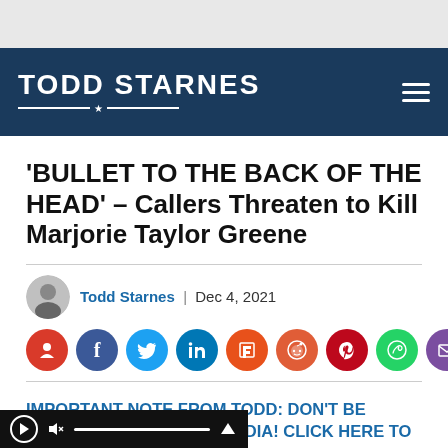TODD STARNES
'BULLET TO THE BACK OF THE HEAD' – Callers Threaten to Kill Marjorie Taylor Greene
Todd Starnes  |  Dec 4, 2021
[Figure (infographic): Social media share icons row: Todd Starnes (red), Facebook (blue), Twitter (light blue), LinkedIn (dark blue), Flipboard (orange), Reddit (orange-red), Pinterest (red), WhatsApp (green), Email (purple)]
IMPORTANT NOTE FROM TODD: DON'T BE CENSORED ON SOCIAL MEDIA! CLICK HERE TO [JOIN] TODD'S EXCLUSIVE CONSERVATIVE